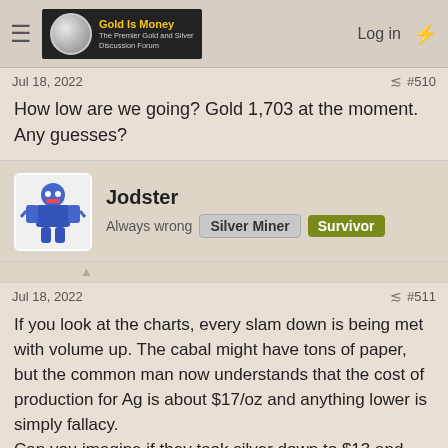Gold Is Money — The Premier Gold and Silver Discussion Forum | Log in
Jul 18, 2022 #510
How low are we going? Gold 1,703 at the moment. Any guesses?
Jodster
Always wrong | Silver Miner | Survivor
Jul 18, 2022 #511
If you look at the charts, every slam down is being met with volume up. The cabal might have tons of paper, but the common man now understands that the cost of production for Ag is about $17/oz and anything lower is simply fallacy.
Can you imagine if they took silver down to $13 and NOBODY was selling; miners stopped production? The entire lie would be exposed.
oldgaranddad, Unca Walt, the_shootist and 4 others